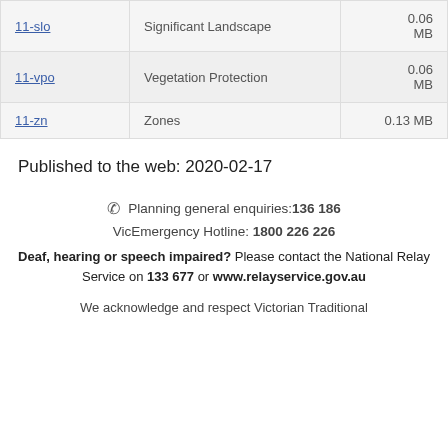| 11-slo | Significant Landscape | 0.06 MB |
| 11-vpo | Vegetation Protection | 0.06 MB |
| 11-zn | Zones | 0.13 MB |
Published to the web: 2020-02-17
Planning general enquiries: 136 186
VicEmergency Hotline: 1800 226 226
Deaf, hearing or speech impaired? Please contact the National Relay Service on 133 677 or www.relayservice.gov.au
We acknowledge and respect Victorian Traditional